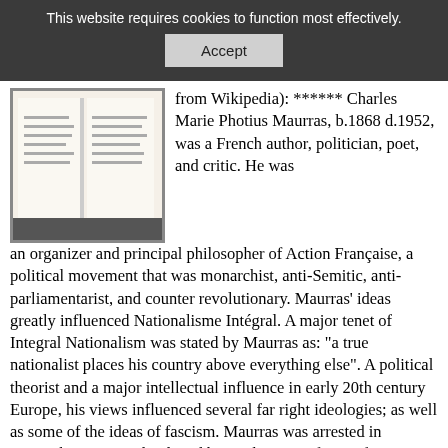This website requires cookies to function most effectively.
Accept
[Figure (photo): A photograph of an open book showing its title page with small printed text]
from Wikipedia): ****** Charles Marie Photius Maurras, b.1868 d.1952, was a French author, politician, poet, and critic. He was an organizer and principal philosopher of Action Française, a political movement that was monarchist, anti-Semitic, anti-parliamentarist, and counter revolutionary. Maurras' ideas greatly influenced Nationalisme Intégral. A major tenet of Integral Nationalism was stated by Maurras as: "a true nationalist places his country above everything else". A political theorist and a major intellectual influence in early 20th century Europe, his views influenced several far right ideologies; as well as some of the ideas of fascism. Maurras was arrested in September 1944 and indicted by High Court of Lyon for "complicity with the enemy". Maurras was sentenced to life imprisonment. He was automatically dismissed from the Académie Française. Imprisoned in Riom and then Clairvaux, Maurras was